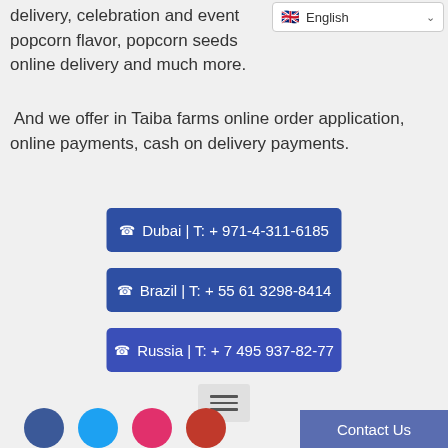delivery, celebration and event popcorn flavor, popcorn seeds online delivery and much more.
And we offer in Taiba farms online order application, online payments, cash on delivery payments.
Dubai | T: + 971-4-311-6185
Brazil | T: + 55 61 3298-8414
Russia | T: + 7 495 937-82-77
Contact Us